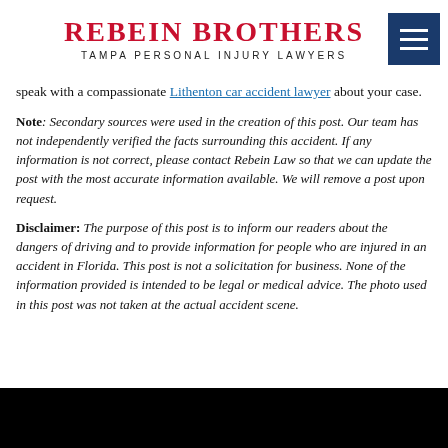Rebein Brothers — Tampa Personal Injury Lawyers
speak with a compassionate Lithenton car accident lawyer about your case.
Note: Secondary sources were used in the creation of this post. Our team has not independently verified the facts surrounding this accident. If any information is not correct, please contact Rebein Law so that we can update the post with the most accurate information available. We will remove a post upon request.
Disclaimer: The purpose of this post is to inform our readers about the dangers of driving and to provide information for people who are injured in an accident in Florida. This post is not a solicitation for business. None of the information provided is intended to be legal or medical advice. The photo used in this post was not taken at the actual accident scene.